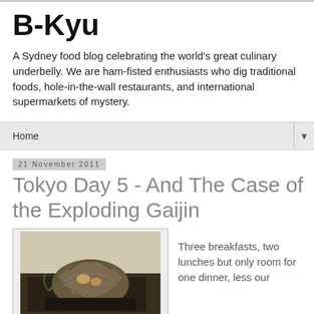B-Kyu
A Sydney food blog celebrating the world's great culinary underbelly. We are ham-fisted enthusiasts who dig traditional foods, hole-in-the-wall restaurants, and international supermarkets of mystery.
Home
21 November 2011
Tokyo Day 5 - And The Case of the Exploding Gaijin
[Figure (photo): Photo of a shellfish or sea creature dish served on a dark plate/tray, with shell and cooked meat visible]
Three breakfasts, two lunches but only room for one dinner, less our